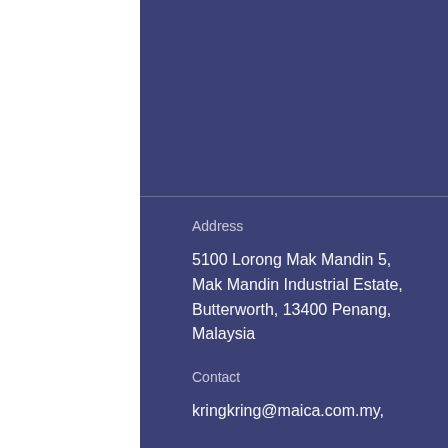Address
5100 Lorong Mak Mandin 5,
Mak Mandin Industrial Estate,
Butterworth, 13400 Penang,
Malaysia
Contact
kringkring@maica.com.my,